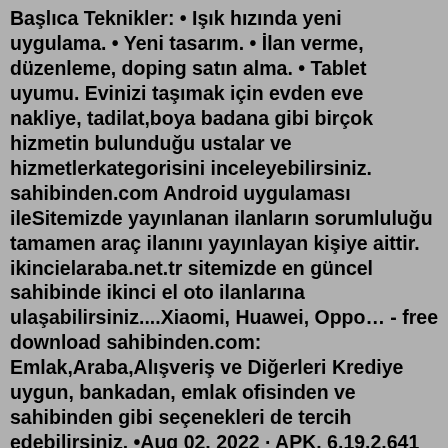Başlıca Teknikler: • Işık hızında yeni uygulama. • Yeni tasarım. • İlan verme, düzenleme, doping satın alma. • Tablet uyumu. Evinizi taşımak için evden eve nakliye, tadilat,boya badana gibi birçok hizmetin bulunduğu ustalar ve hizmetlerkategorisini inceleyebilirsiniz. sahibinden.com Android uygulaması ileSitemizde yayınlanan ilanların sorumluluğu tamamen araç ilanını yayınlayan kişiye aittir. ikincielaraba.net.tr sitemizde en güncel sahibinde ikinci el oto ilanlarına ulaşabilirsiniz....Xiaomi, Huawei, Oppo… - free download sahibinden.com: Emlak,Araba,Alışveriş ve Diğerleri Krediye uygun, bankadan, emlak ofisinden ve sahibinden gibi seçenekleri de tercih edebilirsiniz. •Aug 02, 2022 · APK. 6.19.2.641 tarafından Trendyol. 2022-08-05 Eski versiyonlar. İndir APK (76.4 MB) XAPK / APK dosyası nasıl yüklenir. Use APKPure APP. Fast and safe XAPK / APK installer. İndir. Android için sahibinden Pro, ücretsiz ve güvenli indirme. En güncel sahibinden Pro sürümü. B2B. Monetization solutions for Publishers. Yazılımı